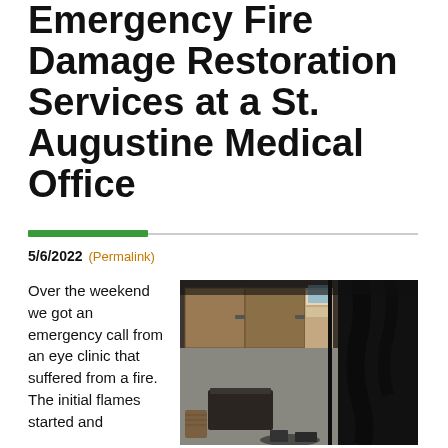Emergency Fire Damage Restoration Services at a St. Augustine Medical Office
5/6/2022 (Permalink)
Over the weekend we got an emergency call from an eye clinic that suffered from a fire. The initial flames started and
[Figure (photo): Interior photo of a fire-damaged room showing charred black walls and ceiling, wooden cabinets, a dark toilet tank, and debris on the floor.]